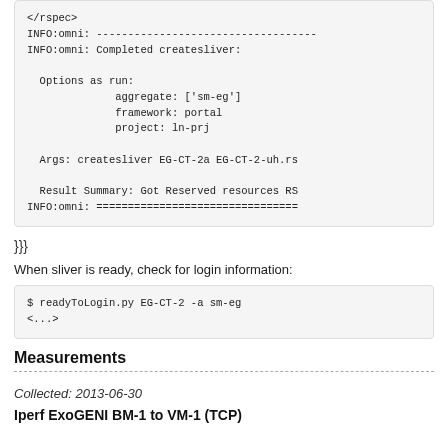</rspec>
INFO:omni: -----------------------------------
INFO:omni: Completed createsliver:

  Options as run:
              aggregate: ['sm-eg']
              framework: portal
              project: ln-prj

  Args: createsliver EG-CT-2a EG-CT-2-uh.rs

  Result Summary: Got Reserved resources RS
INFO:omni: ================================
}}}
When sliver is ready, check for login information:
$ readyToLogin.py EG-CT-2 -a sm-eg
<...>
Measurements
Collected: 2013-06-30
Iperf ExoGENI BM-1 to VM-1 (TCP)